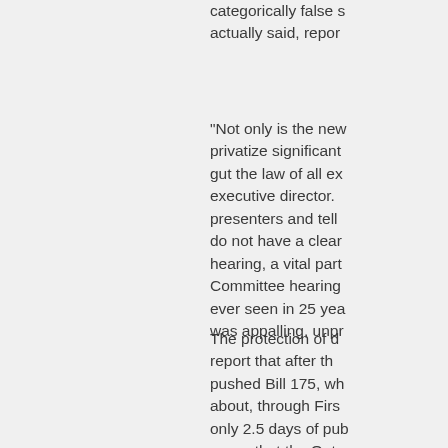categorically false statements about what she actually said, repor
“Not only is the new legislation designed to privatize significant parts of the system and gut the law of all existing protections, said the executive director. The ministry sent two presenters and tell the stakeholders that they do not have a clear understanding of the hearing, a vital part of legislation. Committee hearings, the most abusive ever seen in 25 years of experience, was appalling, unpr
The protection of d report that after th pushed Bill 175, wh about, through Firs only 2.5 days of pub a way that the Onta the part of govern